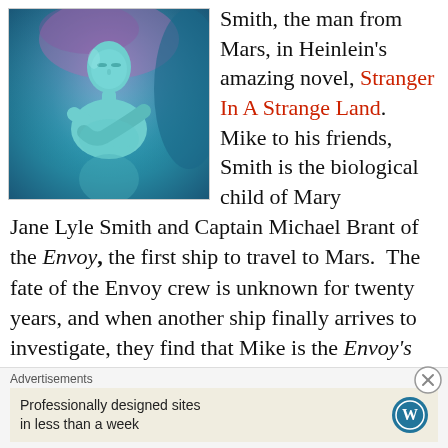[Figure (photo): A person with teal/blue skin coloring underwater or in a fantasy setting, arms crossed at chest, looking upward, with soft flowing shapes around them.]
Smith, the man from Mars, in Heinlein's amazing novel, Stranger In A Strange Land.  Mike to his friends, Smith is the biological child of Mary Jane Lyle Smith and Captain Michael Brant of the Envoy, the first ship to travel to Mars.  The fate of the Envoy crew is unknown for twenty years, and when another ship finally arrives to investigate, they find that Mike is the Envoy's only survivor.  Since Mike was
Advertisements
Professionally designed sites in less than a week